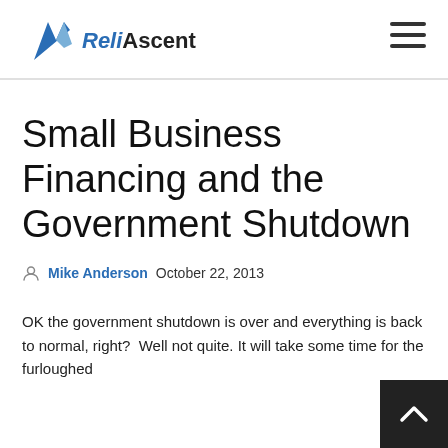[Figure (logo): ReliAscent company logo with stylized blue wing/arrow graphic above the text]
Small Business Financing and the Government Shutdown
Mike Anderson October 22, 2013
OK the government shutdown is over and everything is back to normal, right?  Well not quite. It will take some time for the furloughed